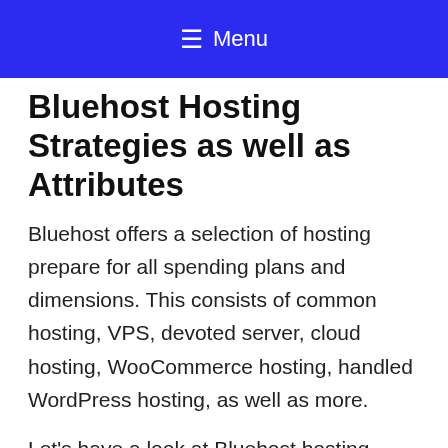≡ Menu
Bluehost Hosting Strategies as well as Attributes
Bluehost offers a selection of hosting prepare for all spending plans and dimensions. This consists of common hosting, VPS, devoted server, cloud hosting, WooCommerce hosting, handled WordPress hosting, as well as more.
Let's have a look at Bluehost hosting strategies and their functions.